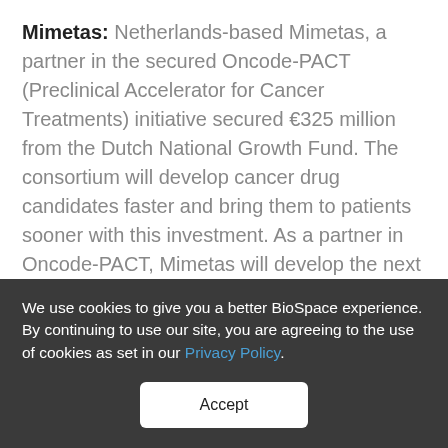Mimetas: Netherlands-based Mimetas, a partner in the secured Oncode-PACT (Preclinical Accelerator for Cancer Treatments) initiative secured €325 million from the Dutch National Growth Fund. The consortium will develop cancer drug candidates faster and bring them to patients sooner with this investment. As a partner in Oncode-PACT, Mimetas will develop the next generation of patient-specific cancer organoid
We use cookies to give you a better BioSpace experience. By continuing to use our site, you are agreeing to the use of cookies as set in our Privacy Policy.